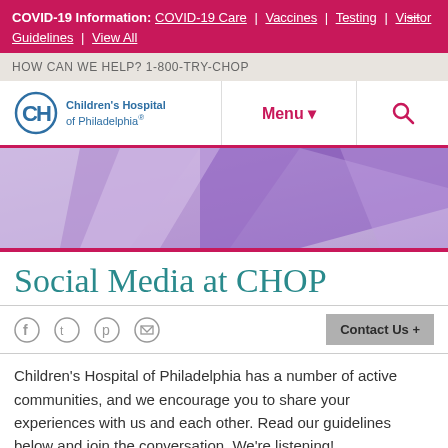COVID-19 Information: COVID-19 Care | Vaccines | Testing | Visitor Guidelines | View All
HOW CAN WE HELP? 1-800-TRY-CHOP
[Figure (logo): Children's Hospital of Philadelphia logo with CH icon and navigation Menu and search]
[Figure (illustration): Abstract geometric banner with purple and lavender diagonal shapes]
Social Media at CHOP
[Figure (infographic): Social media share icons: Facebook, Twitter, Pinterest, Email, and Contact Us + button]
Children's Hospital of Philadelphia has a number of active communities, and we encourage you to share your experiences with us and each other. Read our guidelines below and join the conversation. We're listening!